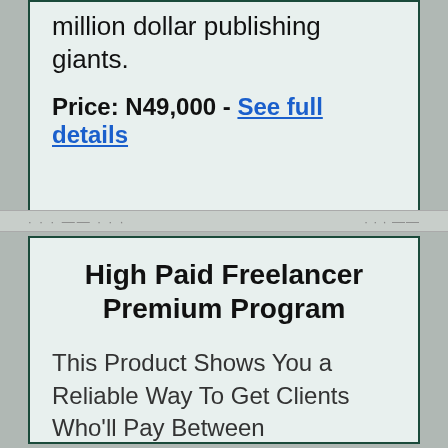million dollar publishing giants.
Price: N49,000 - See full details
High Paid Freelancer Premium Program
This Product Shows You a Reliable Way To Get Clients Who'll Pay Between $500-$10,000 Per Project.